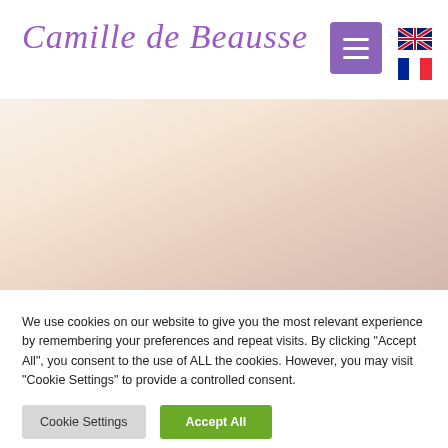Camille de Beausse
[Figure (illustration): Hamburger menu button (three horizontal white lines on purple/violet rounded rectangle background)]
[Figure (illustration): UK flag icon for English language selection]
[Figure (illustration): French flag icon for French language selection]
[Figure (photo): Hero banner image with soft warm gradient tones — peach, blush, and mauve — suggesting a hazy outdoor or sky photograph]
We use cookies on our website to give you the most relevant experience by remembering your preferences and repeat visits. By clicking "Accept All", you consent to the use of ALL the cookies. However, you may visit "Cookie Settings" to provide a controlled consent.
Cookie Settings
Accept All